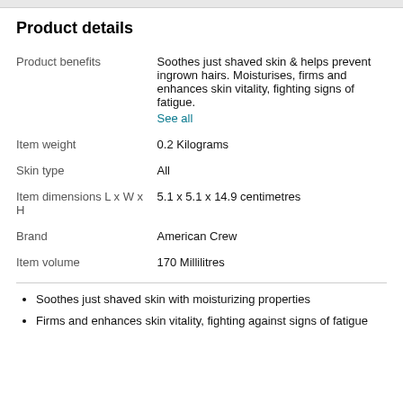Product details
| Product benefits | Soothes just shaved skin & helps prevent ingrown hairs. Moisturises, firms and enhances skin vitality, fighting signs of fatigue. See all |
| Item weight | 0.2 Kilograms |
| Skin type | All |
| Item dimensions L x W x H | 5.1 x 5.1 x 14.9 centimetres |
| Brand | American Crew |
| Item volume | 170 Millilitres |
Soothes just shaved skin with moisturizing properties
Firms and enhances skin vitality, fighting against signs of fatigue